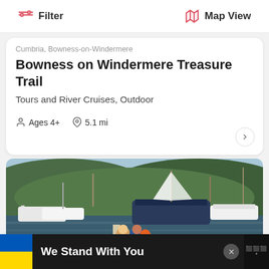Filter  Map View
Cumbria, Bowness-on-Windermere
Bowness on Windermere Treasure Trail
Tours and River Cruises, Outdoor
Ages 4+  5.1 mi
[Figure (photo): A marina scene with sailboats and motorboats moored on a lake, with two women in a small boat in the foreground. Tree-covered hills visible in the background.]
We Stand With You